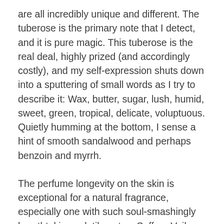are all incredibly unique and different. The tuberose is the primary note that I detect, and it is pure magic. This tuberose is the real deal, highly prized (and accordingly costly), and my self-expression shuts down into a sputtering of small words as I try to describe it: Wax, butter, sugar, lush, humid, sweet, green, tropical, delicate, voluptuous. Quietly humming at the bottom, I sense a hint of smooth sandalwood and perhaps benzoin and myrrh.
The perfume longevity on the skin is exceptional for a natural fragrance, especially one with such soul-smashingly breathtaking volatile notes. Saffron Veil lasts for several hours, and if I spray it onto my clothing, it lasts all day. It’s a bold fragrance, possibly a little daring for work but that hasn’t stopped me!